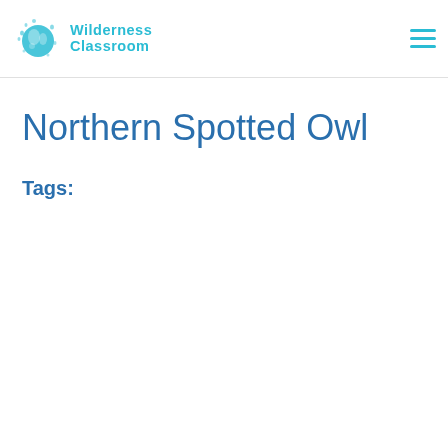Wilderness Classroom
Northern Spotted Owl
Tags: